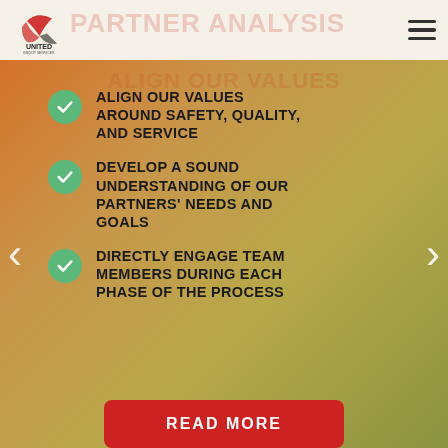PARTNER ANALYSIS
ALIGN OUR VALUES AROUND SAFETY, QUALITY, AND SERVICE
DEVELOP A SOUND UNDERSTANDING OF OUR PARTNERS' NEEDS AND GOALS
DIRECTLY ENGAGE TEAM MEMBERS DURING EACH PHASE OF THE PROCESS
READ MORE